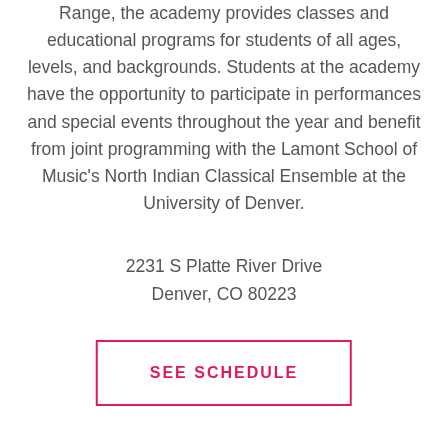Range, the academy provides classes and educational programs for students of all ages, levels, and backgrounds. Students at the academy have the opportunity to participate in performances and special events throughout the year and benefit from joint programming with the Lamont School of Music's North Indian Classical Ensemble at the University of Denver.
2231 S Platte River Drive
Denver, CO 80223
SEE SCHEDULE